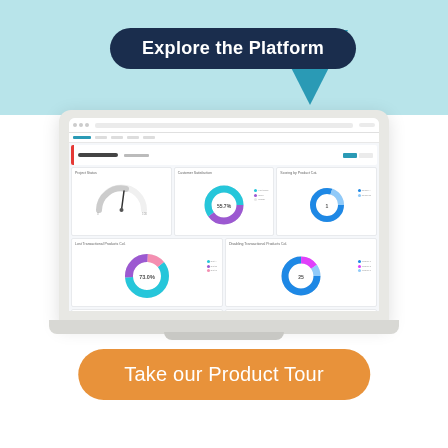Explore the Platform
[Figure (screenshot): Laptop computer displaying a software dashboard with donut charts, a gauge chart, and data panels showing project analytics]
Take our Product Tour